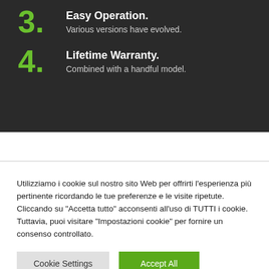3. Easy Operation. Various versions have evolved.
4. Lifetime Warranty. Combined with a handful model.
Utilizziamo i cookie sul nostro sito Web per offrirti l'esperienza più pertinente ricordando le tue preferenze e le visite ripetute. Cliccando su "Accetta tutto" acconsenti all'uso di TUTTI i cookie. Tuttavia, puoi visitare "Impostazioni cookie" per fornire un consenso controllato.
Cookie Settings | Accept All